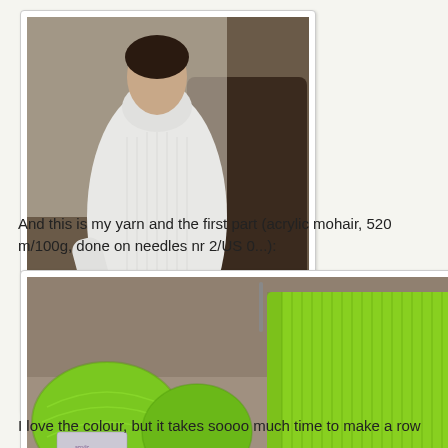[Figure (photo): Fashion photo of a woman wearing a white ribbed turtleneck sweater, reclining on a chair]
And this is my yarn and the first part (acrylic mohair, 520 m/100g, done on needles nr 2/US 0...):
[Figure (photo): Photo of bright green yarn balls and a partially knitted green ribbed piece sitting on a surface]
I love the colour, but it takes soooo much time to make a row